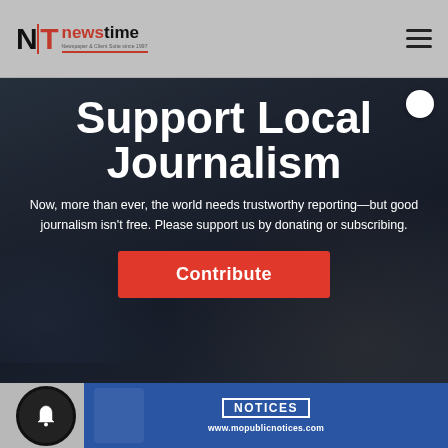[Figure (logo): NT Newstime logo with red accent bar and tagline]
Support Local Journalism
Now, more than ever, the world needs trustworthy reporting—but good journalism isn't free. Please support us by donating or subscribing.
Contribute
[Figure (screenshot): Bottom section with bell notification icon and mopublicnotices.com banner card showing NOTICES text and www.mopublicnotices.com URL]